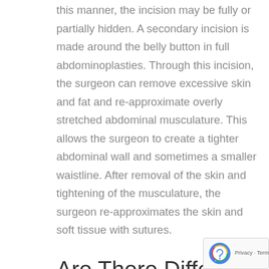this manner, the incision may be fully or partially hidden. A secondary incision is made around the belly button in full abdominoplasties. Through this incision, the surgeon can remove excessive skin and fat and re-approximate overly stretched abdominal musculature. This allows the surgeon to create a tighter abdominal wall and sometimes a smaller waistline. After removal of the skin and tightening of the musculature, the surgeon re-approximates the skin and soft tissue with sutures.
Are There Different Types of Tummy Tucks (Abdominoplasties)?